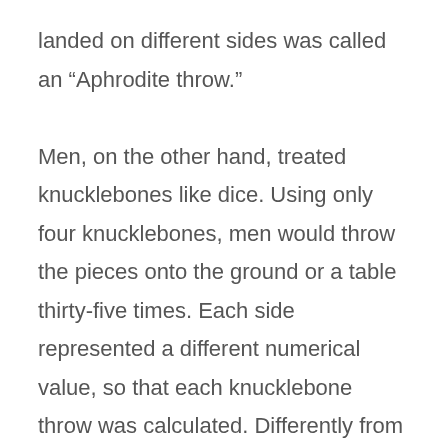landed on different sides was called an “Aphrodite throw.”

Men, on the other hand, treated knucklebones like dice. Using only four knucklebones, men would throw the pieces onto the ground or a table thirty-five times. Each side represented a different numerical value, so that each knucklebone throw was calculated. Differently from the modern game of dice, it was not the side of the knucklebone that faced up that counted. It was instead the side that landed on the surface. Although each knucklebone side was different and therefore, did